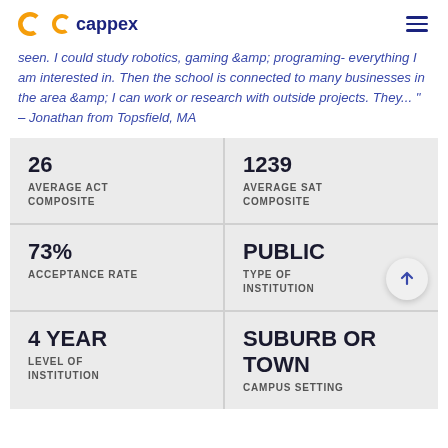cappex
seen. I could study robotics, gaming &amp; programing- everything I am interested in. Then the school is connected to many businesses in the area &amp; I can work or research with outside projects. They... " – Jonathan from Topsfield, MA
| 26
AVERAGE ACT COMPOSITE | 1239
AVERAGE SAT COMPOSITE |
| 73%
ACCEPTANCE RATE | PUBLIC
TYPE OF INSTITUTION |
| 4 YEAR
LEVEL OF INSTITUTION | SUBURB OR TOWN
CAMPUS SETTING |